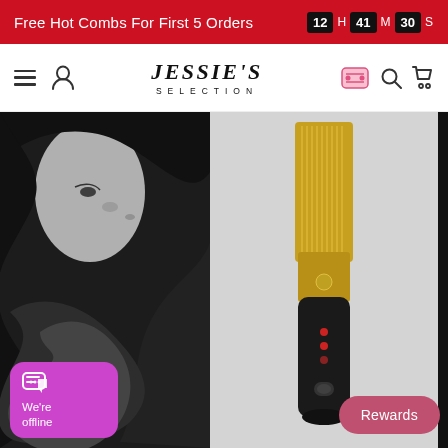Free Hot Combs For First 5 Orders  12 H 41 M 30 S
[Figure (screenshot): Jessie's Selection e-commerce website header with navigation: hamburger menu, user icon, JESSIE'S SELECTION logo, loyalty icon, search icon, cart icon]
[Figure (photo): Hero banner showing three panels: left panel with black and white photo of woman with curly wavy hair, center panel with gold and black electric hot comb straightener product on gray background, right panel with black and white photo of woman with long straight black hair]
We're offline
Rewards